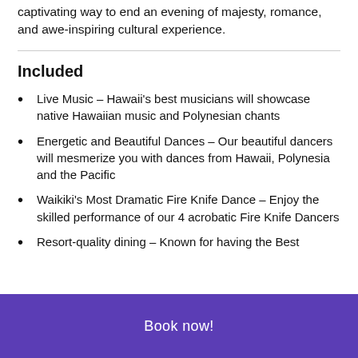captivating way to end an evening of majesty, romance, and awe-inspiring cultural experience.
Included
Live Music – Hawaii's best musicians will showcase native Hawaiian music and Polynesian chants
Energetic and Beautiful Dances – Our beautiful dancers will mesmerize you with dances from Hawaii, Polynesia and the Pacific
Waikiki's Most Dramatic Fire Knife Dance – Enjoy the skilled performance of our 4 acrobatic Fire Knife Dancers
Resort-quality dining – Known for having the Best
Book now!